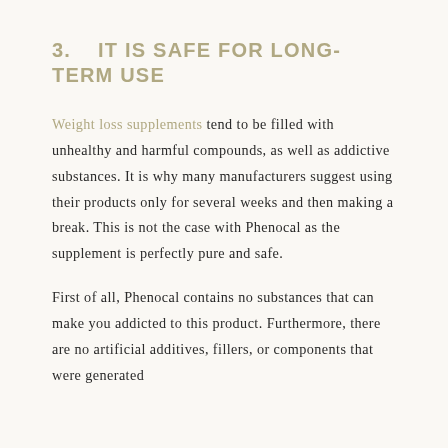3.    IT IS SAFE FOR LONG-TERM USE
Weight loss supplements tend to be filled with unhealthy and harmful compounds, as well as addictive substances. It is why many manufacturers suggest using their products only for several weeks and then making a break. This is not the case with Phenocal as the supplement is perfectly pure and safe.
First of all, Phenocal contains no substances that can make you addicted to this product. Furthermore, there are no artificial additives, fillers, or components that were generated